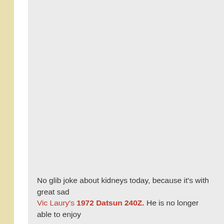No glib joke about kidneys today, because it's with great sad... Vic Laury's 1972 Datsun 240Z. He is no longer able to enjoy...